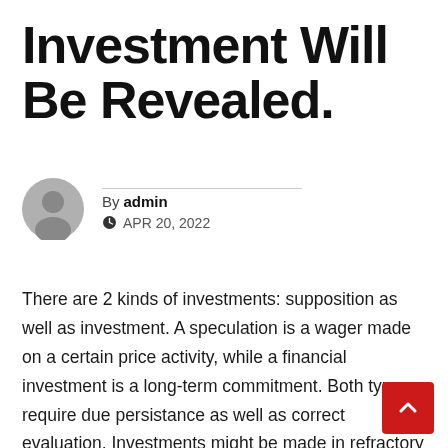Investment Will Be Revealed.
By admin
APR 20, 2022
There are 2 kinds of investments: supposition as well as investment. A speculation is a wager made on a certain price activity, while a financial investment is a long-term commitment. Both types require due persistance as well as correct evaluation. Investments might be made in refractory products such as real estate, supplies, bonds, and mutual funds. These